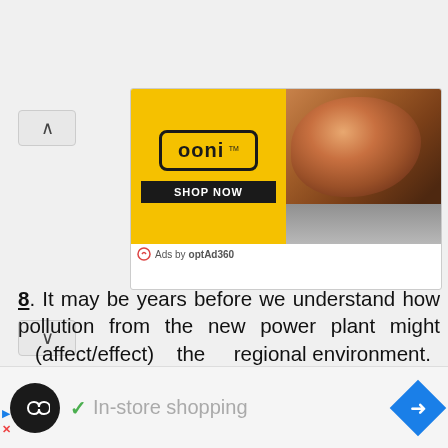[Figure (screenshot): Top banner advertisement for 'THE OUTFIT' with dark brown background, gold text and white text reading 'NEW FROM T... peac...']
[Figure (screenshot): Advertisement for 'ooni' pizza oven brand. Yellow background with ooni logo and 'SHOP NOW' button on left, pizza image on right. Below: 'Ads by optAd360']
8. It may be years before we understand how pollution from the new power plant might (affect/effect) the regional environment.
[Figure (screenshot): Bottom navigation bar with black circular icon with infinity symbol, checkmark, 'In-store shopping' text in gray, and blue diamond navigation arrow]